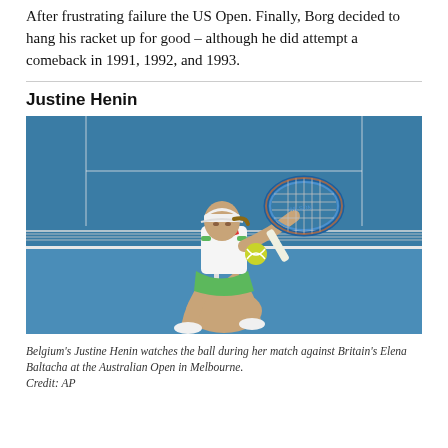After frustrating failure the US Open. Finally, Borg decided to hang his racket up for good – although he did attempt a comeback in 1991, 1992, and 1993.
Justine Henin
[Figure (photo): Justine Henin playing tennis on a blue hard court, hitting a backhand shot with a Wilson racket, wearing white top and green skirt with white cap. Yellow tennis ball visible.]
Belgium's Justine Henin watches the ball during her match against Britain's Elena Baltacha at the Australian Open in Melbourne.
Credit: AP